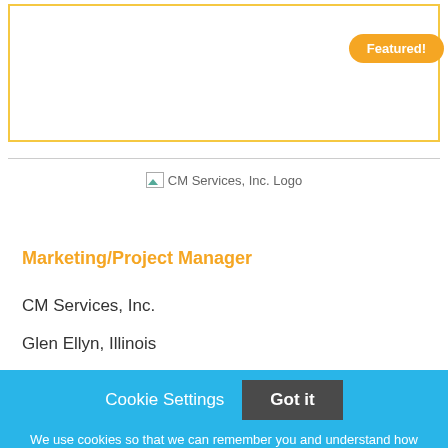[Figure (other): Featured job card with yellow border and orange 'Featured!' badge in top-right corner]
[Figure (logo): CM Services, Inc. Logo placeholder image]
Marketing/Project Manager
CM Services, Inc.
Glen Ellyn, Illinois
Cookie Settings  Got it
We use cookies so that we can remember you and understand how you use our site. If you do not agree with our use of cookies, please change the current settings found in our Cookie Policy. Otherwise, you agree to the use of the cookies as they are currently set.